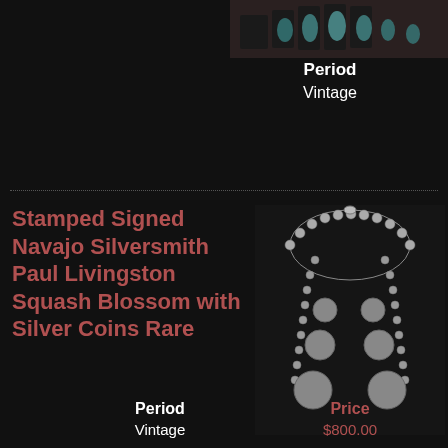[Figure (photo): Top partial image of turquoise and silver necklace on dark background]
Period
Vintage
[Figure (photo): Silver beaded squash blossom necklace with silver coins, Navajo silversmith Paul Livingston, on dark background]
Stamped Signed Navajo Silversmith Paul Livingston Squash Blossom with Silver Coins Rare
Period
Vintage
Price
$800.00